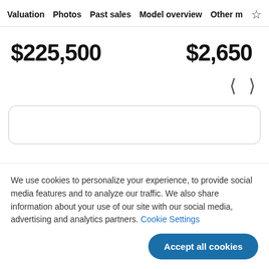Valuation   Photos   Past sales   Model overview   Other mod…   ☆
$225,500
$2,650
We use cookies to personalize your experience, to provide social media features and to analyze our traffic. We also share information about your use of our site with our social media, advertising and analytics partners. Cookie Settings
Accept all cookies